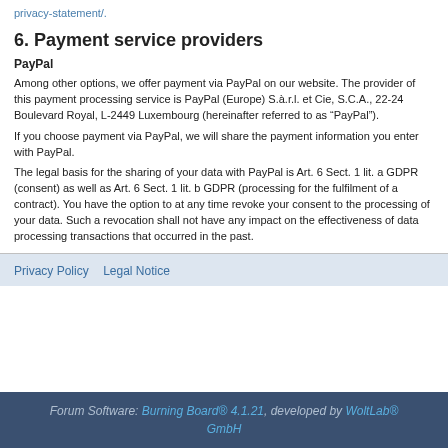GitHub Data Privacy Policy under: https://help.github.com/articles/github-privacy-statement/.
6. Payment service providers
PayPal
Among other options, we offer payment via PayPal on our website. The provider of this payment processing service is PayPal (Europe) S.à.r.l. et Cie, S.C.A., 22-24 Boulevard Royal, L-2449 Luxembourg (hereinafter referred to as “PayPal”).
If you choose payment via PayPal, we will share the payment information you enter with PayPal.
The legal basis for the sharing of your data with PayPal is Art. 6 Sect. 1 lit. a GDPR (consent) as well as Art. 6 Sect. 1 lit. b GDPR (processing for the fulfilment of a contract). You have the option to at any time revoke your consent to the processing of your data. Such a revocation shall not have any impact on the effectiveness of data processing transactions that occurred in the past.
Privacy Policy  Legal Notice
Forum Software: Burning Board® 4.1.21, developed by WoltLab® GmbH